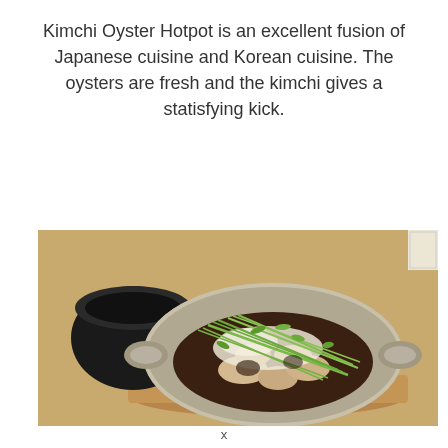Kimchi Oyster Hotpot is an excellent fusion of Japanese cuisine and Korean cuisine. The oysters are fresh and the kimchi gives a statisfying kick.
[Figure (photo): A ceramic oyster-shaped hotpot dish filled with oysters, kimchi, and green onions, placed on a wooden tray alongside a dark ceramic pot, on a light wooden restaurant table.]
x